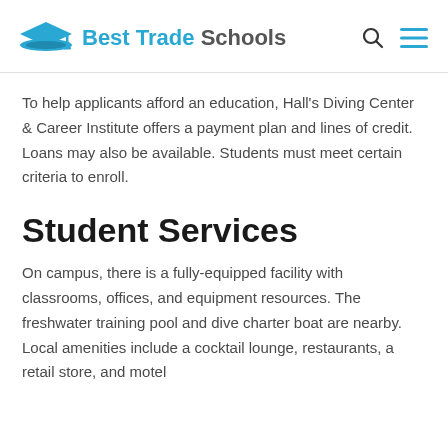Best Trade Schools
To help applicants afford an education, Hall's Diving Center & Career Institute offers a payment plan and lines of credit. Loans may also be available. Students must meet certain criteria to enroll.
Student Services
On campus, there is a fully-equipped facility with classrooms, offices, and equipment resources. The freshwater training pool and dive charter boat are nearby. Local amenities include a cocktail lounge, restaurants, a retail store, and motel